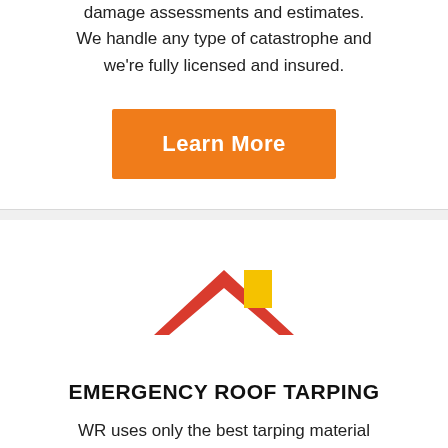damage assessments and estimates. We handle any type of catastrophe and we're fully licensed and insured.
Learn More
[Figure (logo): Roof icon: red chevron/roof shape with yellow chimney block, resembling a stylized house roofline]
EMERGENCY ROOF TARPING
WR uses only the best tarping material form Dr. Shrink. It's a strong white tarp